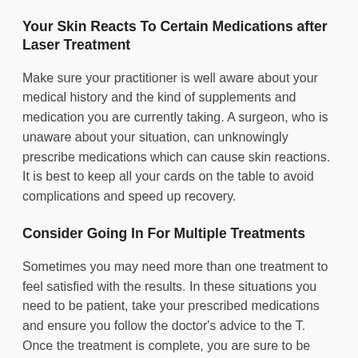Your Skin Reacts To Certain Medications after Laser Treatment
Make sure your practitioner is well aware about your medical history and the kind of supplements and medication you are currently taking. A surgeon, who is unaware about your situation, can unknowingly prescribe medications which can cause skin reactions. It is best to keep all your cards on the table to avoid complications and speed up recovery.
Consider Going In For Multiple Treatments
Sometimes you may need more than one treatment to feel satisfied with the results. In these situations you need to be patient, take your prescribed medications and ensure you follow the doctor's advice to the T. Once the treatment is complete, you are sure to be rewarded as the results you obtain are long lasting.